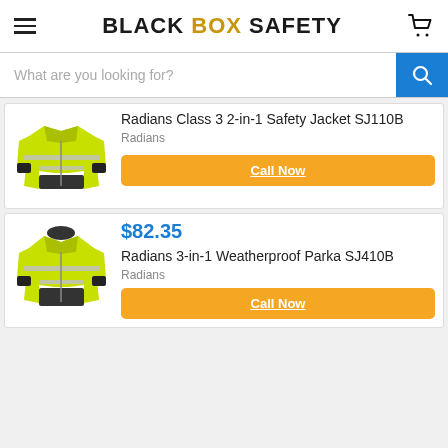BLACK BOX SAFETY
What are you looking for?
[Figure (photo): High-visibility yellow safety jacket with black trim and reflective strips - Radians Class 3 2-in-1 Safety Jacket SJ110B]
Radians Class 3 2-in-1 Safety Jacket SJ110B
Radians
Call Now
[Figure (photo): High-visibility yellow weatherproof parka with black trim and reflective strips - Radians 3-in-1 Weatherproof Parka SJ410B]
$82.35
Radians 3-in-1 Weatherproof Parka SJ410B
Radians
Call Now